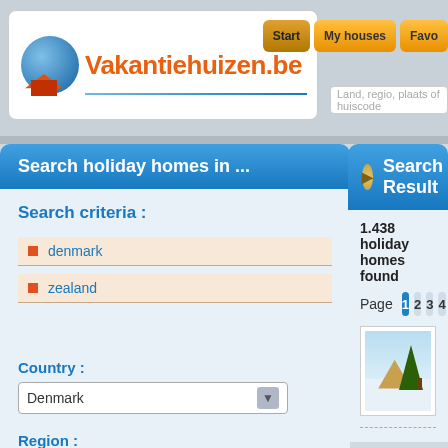[Figure (screenshot): Vakantiehuizen.be website logo with globe and house icon]
Start  My houses  Favo
Land, regio, plaats of huiscode
Search holiday homes in ...
Search Result
1.438 holiday homes found
Page  1  2  3  4  5
Search criteria :
denmark
zealand
Country :
Denmark
Region :
Zealand
Arrival Date :
[Figure (photo): Holiday house photo showing a wooden cabin with snow and pine tree]